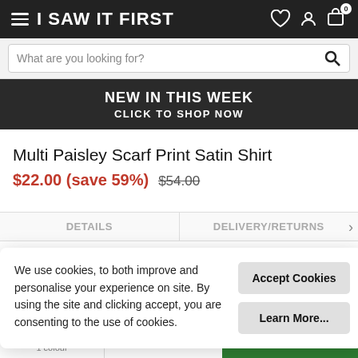I SAW IT FIRST
What are you looking for?
NEW IN THIS WEEK
CLICK TO SHOP NOW
Multi Paisley Scarf Print Satin Shirt
$22.00 (save 59%) $54.00
DETAILS
DELIVERY/RETURNS
We use cookies, to both improve and personalise your experience on site. By using the site and clicking accept, you are consenting to the use of cookies.
Accept Cookies
Learn More...
1 colour
SELECT SIZE
ADD TO BAG